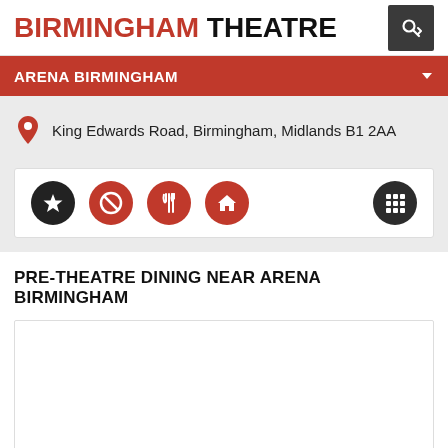BIRMINGHAM THEATRE
ARENA BIRMINGHAM
King Edwards Road, Birmingham, Midlands B1 2AA
[Figure (other): Row of circular icon buttons: star/favourite (dark), prohibition circle (red), fork and knife dining (red), house/home (red), and a grid/website icon (dark) on the right]
PRE-THEATRE DINING NEAR ARENA BIRMINGHAM
[Figure (other): Empty white content box with light border]